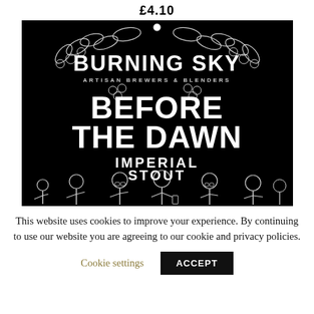£4.10
[Figure (illustration): Burning Sky Artisan Brewers & Blenders 'Before The Dawn Imperial Stout' beer label artwork on black background. Large stylized text reads 'BURNING SKY / ARTISAN BREWERS & BLENDERS' at top with hop and leaf decorative elements. Below reads 'BEFORE THE DAWN IMPERIAL STOUT'. Lower portion shows cartoon-style black and white illustration of six people socializing with drinks.]
This website uses cookies to improve your experience. By continuing to use our website you are agreeing to our cookie and privacy policies.
Cookie settings
ACCEPT